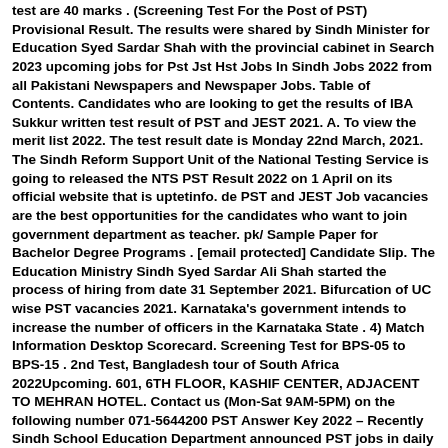test are 40 marks . (Screening Test For the Post of PST) Provisional Result. The results were shared by Sindh Minister for Education Syed Sardar Shah with the provincial cabinet in Search 2023 upcoming jobs for Pst Jst Hst Jobs In Sindh Jobs 2022 from all Pakistani Newspapers and Newspaper Jobs. Table of Contents. Candidates who are looking to get the results of IBA Sukkur written test result of PST and JEST 2021. A. To view the merit list 2022. The test result date is Monday 22nd March, 2021. The Sindh Reform Support Unit of the National Testing Service is going to released the NTS PST Result 2022 on 1 April on its official website that is uptetinfo. de PST and JEST Job vacancies are the best opportunities for the candidates who want to join government department as teacher. pk/ Sample Paper for Bachelor Degree Programs . [email protected] Candidate Slip. The Education Ministry Sindh Syed Sardar Ali Shah started the process of hiring from date 31 September 2021. Bifurcation of UC wise PST vacancies 2021. Karnataka's government intends to increase the number of officers in the Karnataka State . 4) Match Information Desktop Scorecard. Screening Test for BPS-05 to BPS-15 . 2nd Test, Bangladesh tour of South Africa 2022Upcoming. 601, 6TH FLOOR, KASHIF CENTER, ADJACENT TO MEHRAN HOTEL. Contact us (Mon-Sat 9AM-5PM) on the following number 071-5644200 PST Answer Key 2022 – Recently Sindh School Education Department announced PST jobs in daily